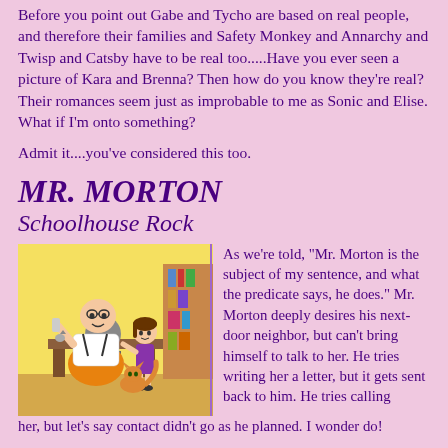Before you point out Gabe and Tycho are based on real people, and therefore their families and Safety Monkey and Annarchy and Twisp and Catsby have to be real too.....Have you ever seen a picture of Kara and Brenna? Then how do you know they're real? Their romances seem just as improbable to me as Sonic and Elise. What if I'm onto something?
Admit it....you've considered this too.
MR. MORTON
Schoolhouse Rock
[Figure (illustration): Cartoon illustration from Schoolhouse Rock showing Mr. Morton, a large bald man in orange pants seated at a desk, and a girl with brown hair standing nearby, with a cat on the floor, in a room with bookshelves.]
As we're told, "Mr. Morton is the subject of my sentence, and what the predicate says, he does." Mr. Morton deeply desires his next-door neighbor, but can't bring himself to talk to her. He tries writing her a letter, but it gets sent back to him. He tries calling her, but let's say contact didn't go as he planned. I wonder do!